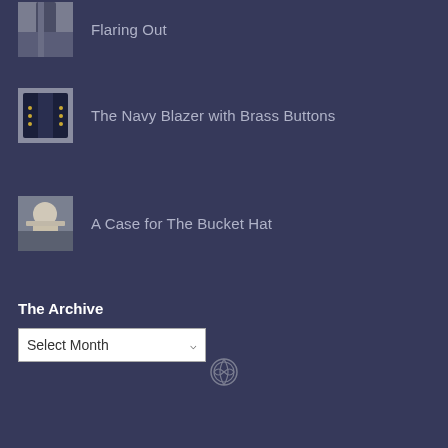Flaring Out
The Navy Blazer with Brass Buttons
A Case for The Bucket Hat
The Archive
Select Month
[Figure (logo): WordPress logo circle icon]